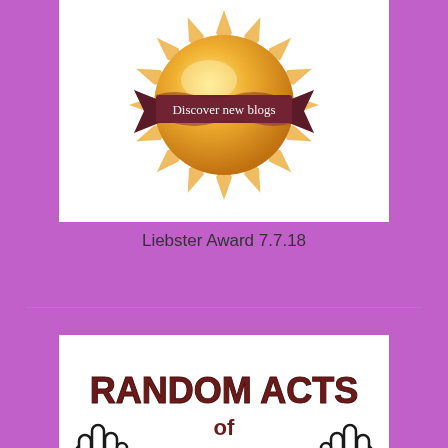[Figure (illustration): Liebster Award badge: a golden sunburst medal with a dark brown ribbon banner across the middle reading 'Discover new blogs' in white cursive script, on a white background.]
Liebster Award 7.7.18
[Figure (illustration): Random Acts of Kindness logo: bold dark red/maroon text 'RANDOM ACTS of KINDNESS' with two black outlined hands raised on either side, on a white background.]